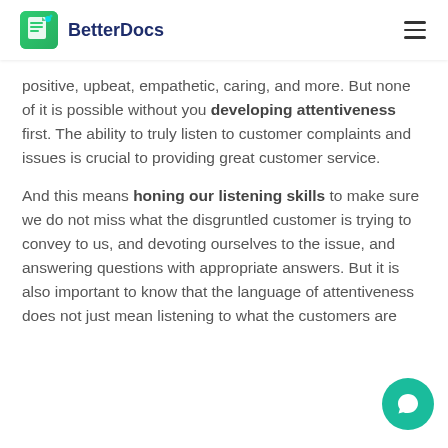BetterDocs
positive, upbeat, empathetic, caring, and more. But none of it is possible without you developing attentiveness first. The ability to truly listen to customer complaints and issues is crucial to providing great customer service.
And this means honing our listening skills to make sure we do not miss what the disgruntled customer is trying to convey to us, and devoting ourselves to the issue, and answering questions with appropriate answers. But it is also important to know that the language of attentiveness does not just mean listening to what the customers are saying, but monitoring your nonverbal